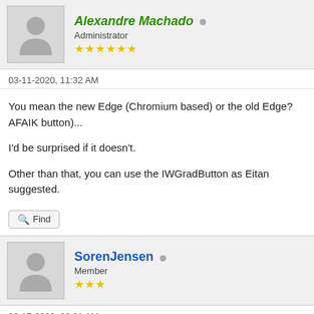Alexandre Machado — Administrator, 6 stars
03-11-2020, 11:32 AM
You mean the new Edge (Chromium based) or the old Edge? AFAIK button)...

I'd be surprised if it doesn't.

Other than that, you can use the IWGradButton as Eitan suggested.
Find
SorenJensen — Member, 3 stars
03-17-2020, 08:01 AM
Hi Alexandre,